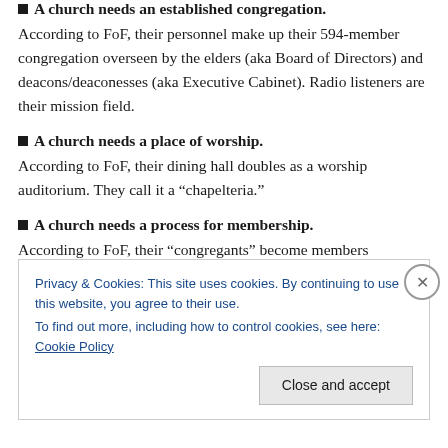A church needs an established congregation. According to FoF, their personnel make up their 594-member congregation overseen by the elders (aka Board of Directors) and deacons/deaconesses (aka Executive Cabinet). Radio listeners are their mission field.
A church needs a place of worship. According to FoF, their dining hall doubles as a worship auditorium. They call it a “chapelteria.”
A church needs a process for membership. According to FoF, their “congregants” become members
Privacy & Cookies: This site uses cookies. By continuing to use this website, you agree to their use.
To find out more, including how to control cookies, see here: Cookie Policy